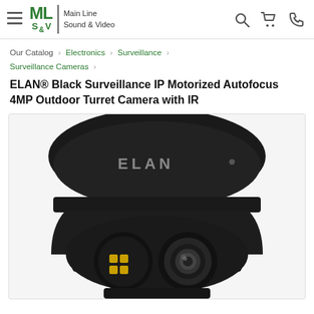ML S&V Main Line Sound & Video [hamburger menu, search, cart, phone icons]
Our Catalog › Electronics › Surveillance › Surveillance Cameras ›
ELAN® Black Surveillance IP Motorized Autofocus 4MP Outdoor Turret Camera with IR
[Figure (photo): Close-up photo of a black ELAN branded outdoor turret surveillance camera with IR, showing the camera lens and IR illuminator on a light background.]